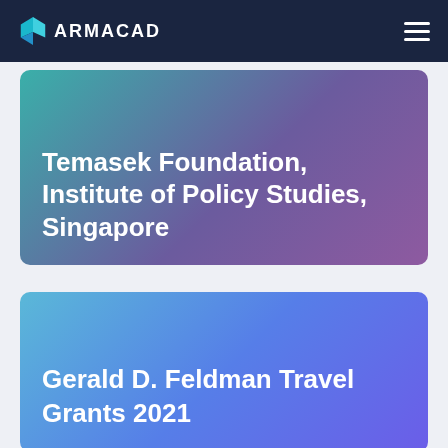ARMACAD
Temasek Foundation, Institute of Policy Studies, Singapore
Gerald D. Feldman Travel Grants 2021